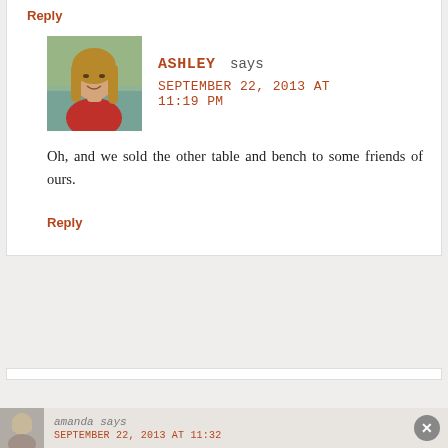Reply
[Figure (photo): Avatar photo of Ashley, a woman with long hair wearing a red top, photographed outdoors]
ASHLEY says SEPTEMBER 22, 2013 AT 11:19 PM
Oh, and we sold the other table and bench to some friends of ours.
Reply
[Figure (photo): Partial avatar photo of Amanda]
amanda says SEPTEMBER 22, 2013 AT 11:32